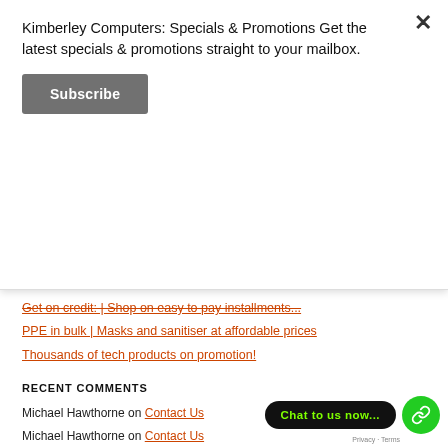Kimberley Computers: Specials & Promotions Get the latest specials & promotions straight to your mailbox.
Subscribe
Get on credit: | Shop on easy to pay installments...
PPE in bulk | Masks and sanitiser at affordable prices
Thousands of tech products on promotion!
RECENT COMMENTS
Michael Hawthorne on Contact Us
Michael Hawthorne on Contact Us
Melvin Sibanyoni on Contact Us
Leonardus van Niel on Contact Us
Michael Hawthorne on Contact Us